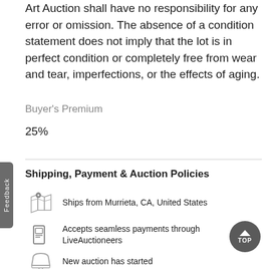Art Auction shall have no responsibility for any error or omission. The absence of a condition statement does not imply that the lot is in perfect condition or completely free from wear and tear, imperfections, or the effects of aging.
Buyer's Premium
25%
Shipping, Payment & Auction Policies
Ships from Murrieta, CA, United States
Accepts seamless payments through LiveAuctioneers
New auction has started